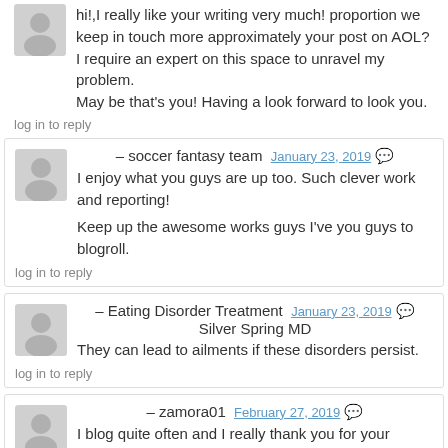hi!,I really like your writing very much! proportion we keep in touch more approximately your post on AOL? I require an expert on this space to unravel my problem.
May be that's you! Having a look forward to look you.
log in to reply
– soccer fantasy team  January 23, 2019
I enjoy what you guys are up too. Such clever work and reporting!
Keep up the awesome works guys I've you guys to blogroll.
log in to reply
– Eating Disorder Treatment Silver Spring MD  January 23, 2019
They can lead to ailments if these disorders persist.
log in to reply
– zamora01  February 27, 2019
I blog quite often and I really thank you for your information. Your article has really